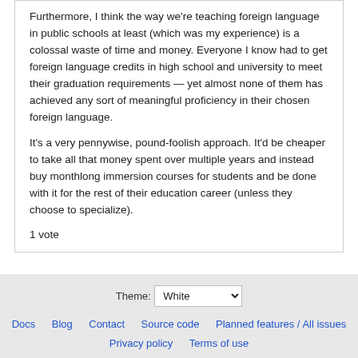Furthermore, I think the way we're teaching foreign language in public schools at least (which was my experience) is a colossal waste of time and money. Everyone I know had to get foreign language credits in high school and university to meet their graduation requirements — yet almost none of them has achieved any sort of meaningful proficiency in their chosen foreign language.
It's a very pennywise, pound-foolish approach. It'd be cheaper to take all that money spent over multiple years and instead buy monthlong immersion courses for students and be done with it for the rest of their education career (unless they choose to specialize).
1 vote
Theme: White | Docs | Blog | Contact | Source code | Planned features / All issues | Privacy policy | Terms of use